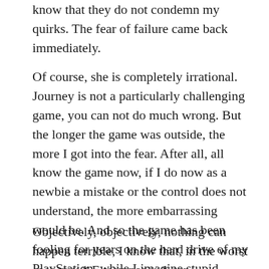know that they do not condemn my quirks. The fear of failure came back immediately.
Of course, she is completely irrational. Journey is not a particularly challenging game, you can not do much wrong. But the longer the game was outside, the more I got into the fear. After all, all know the game now, if I do now as a newbie a mistake or the control does not understand, the more embarrassing would be. And so the game has been fooling for years on the hard drive of my PlayStation, while I imagine stupid mistakes that would pursue me to the end of my days.
Objectively, objectively, nothing can happen terrible, I know that, in the worst case, my * E teampaper * can